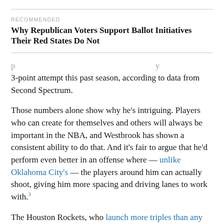RECOMMENDED
Why Republican Voters Support Ballot Initiatives Their Red States Do Not
3-point attempt this past season, according to data from Second Spectrum.
Those numbers alone show why he’s intriguing. Players who can create for themselves and others will always be important in the NBA, and Westbrook has shown a consistent ability to do that. And it’s fair to argue that he’d perform even better in an offense where — unlike Oklahoma City’s — the players around him can actually shoot, giving him more spacing and driving lanes to work with.³
The Houston Rockets, who launch more triples than any club, are one such team that could benefit from Westbrook’s ability to create looks. As such, it